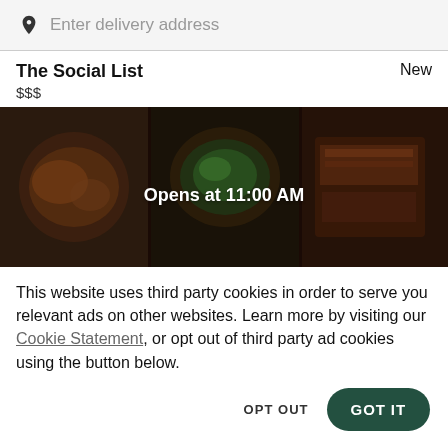Enter delivery address
The Social List
New
$$$
[Figure (photo): Food photos showing various dishes in dark/dimmed presentation with text overlay 'Opens at 11:00 AM']
This website uses third party cookies in order to serve you relevant ads on other websites. Learn more by visiting our Cookie Statement, or opt out of third party ad cookies using the button below.
OPT OUT
GOT IT